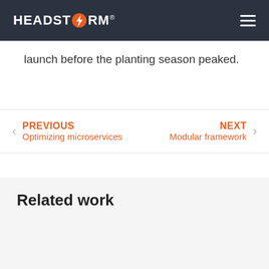HEADSTORM® [navigation bar with hamburger menu]
launch before the planting season peaked.
PREVIOUS
Optimizing microservices
NEXT
Modular framework
Related work
[Figure (photo): A farmer bending over crops in a field of green plants with rows extending into the distance, under a light blue sky.]